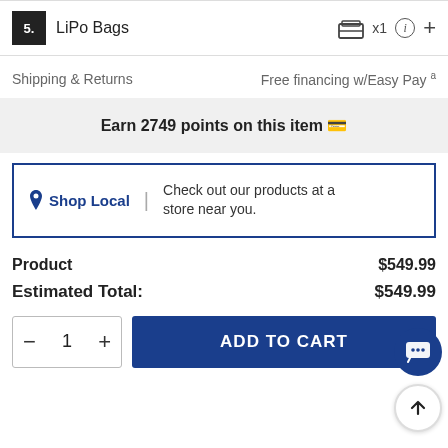5. LiPo Bags x1
Shipping & Returns    Free financing w/Easy Pay
Earn 2749 points on this item 🎁
📍 Shop Local | Check out our products at a store near you.
|  |  |
| --- | --- |
| Product | $549.99 |
| Estimated Total: | $549.99 |
ADD TO CART